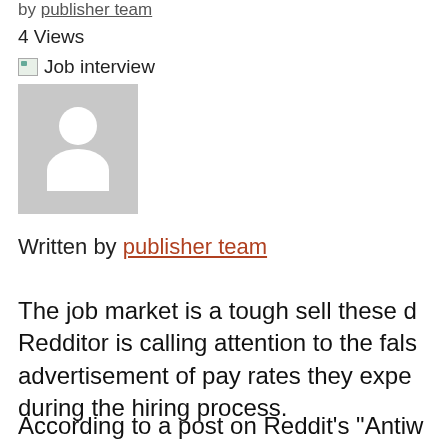by publisher team
4 Views
[Figure (illustration): Broken image placeholder with alt text 'Job interview']
[Figure (photo): Grey avatar placeholder image showing a generic person silhouette]
Written by publisher team
The job market is a tough sell these d… Redditor is calling attention to the fals… advertisement of pay rates they expe… during the hiring process.
According to a post on Reddit's "Antiw…